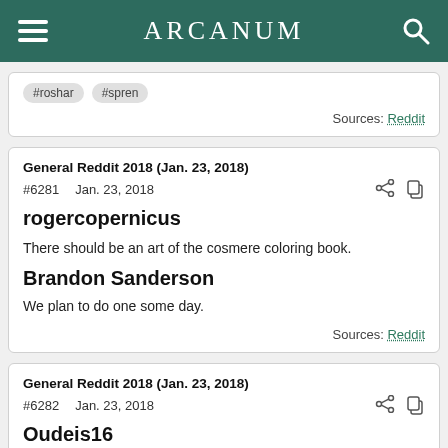ARCANUM
#roshar  #spren
Sources: Reddit
General Reddit 2018 (Jan. 23, 2018)
#6281   Jan. 23, 2018
rogercopernicus
There should be an art of the cosmere coloring book.
Brandon Sanderson
We plan to do one some day.
Sources: Reddit
General Reddit 2018 (Jan. 23, 2018)
#6282   Jan. 23, 2018
Oudeis16
I will confess that over the course of my study I learned that